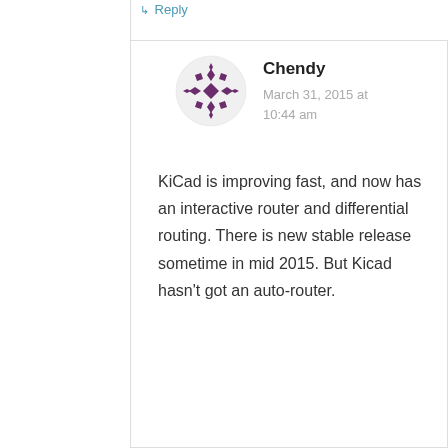↳ Reply
[Figure (illustration): Purple geometric avatar icon for user Chendy]
Chendy
March 31, 2015 at 10:44 am
KiCad is improving fast, and now has an interactive router and differential routing. There is new stable release sometime in mid 2015. But Kicad hasn't got an auto-router.